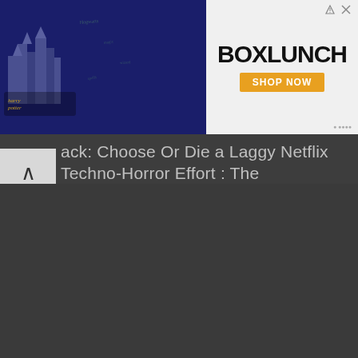[Figure (screenshot): Advertisement banner showing Harry Potter merchandise on the left, folded clothing/stationery products in the middle, green Slytherin merchandise on the right, and a BoxLunch advertisement panel on the far right with 'BOXLUNCH' logo and 'SHOP NOW' button.]
ack: Choose Or Die a Laggy Netflix Techno-Horror Effort : The Abominable Dr. Welsh